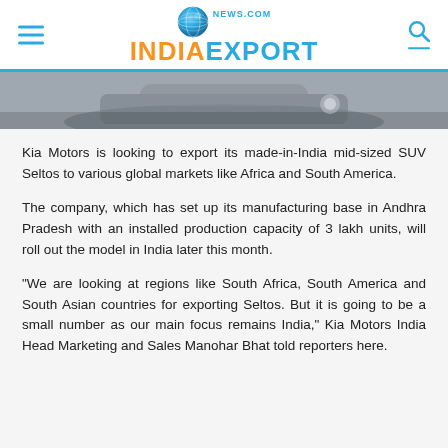INDIAEXPORT NEWS.COM
[Figure (photo): Partial view of a car (Kia Seltos SUV), cropped image strip at the top of the article]
Kia Motors is looking to export its made-in-India mid-sized SUV Seltos to various global markets like Africa and South America.
The company, which has set up its manufacturing base in Andhra Pradesh with an installed production capacity of 3 lakh units, will roll out the model in India later this month.
"We are looking at regions like South Africa, South America and South Asian countries for exporting Seltos. But it is going to be a small number as our main focus remains India," Kia Motors India Head Marketing and Sales Manohar Bhat told reporters here.